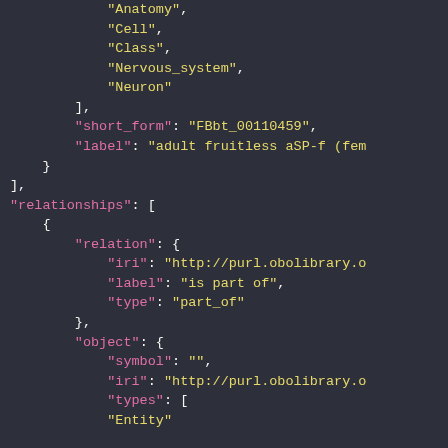JSON code snippet showing biological ontology data structure with relationships, including anatomy, cell, class, nervous_system, neuron types, short_form FBbt_00110459, label adult fruitless aSP-f, relationships array with relation iri, label is part of, type part_of, object with symbol, iri, types including Entity